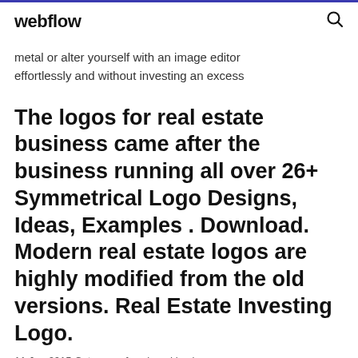webflow
metal or alter yourself with an image editor effortlessly and without investing an excess
The logos for real estate business came after the business running all over 26+ Symmetrical Logo Designs, Ideas, Examples . Download. Modern real estate logos are highly modified from the old versions. Real Estate Investing Logo.
11 Jun 2015 Category of assigned business a